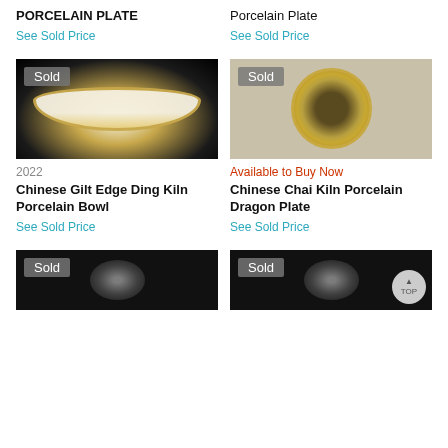PORCELAIN PLATE
Porcelain Plate
See Sold Price
See Sold Price
[Figure (photo): White porcelain bowl with gilt edge on black background, marked Sold]
[Figure (photo): Ornate gold Chinese Chai Kiln porcelain dragon plate on grey background, marked Sold]
2022
Available to Buy Now
Chinese Gilt Edge Ding Kiln Porcelain Bowl
Chinese Chai Kiln Porcelain Dragon Plate
See Sold Price
See Sold Price
[Figure (photo): Partial view of porcelain item on dark background, marked Sold]
[Figure (photo): Partial view of porcelain item on dark background, marked Sold]